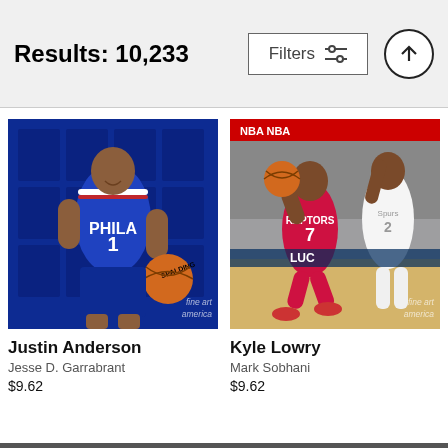Results: 10,233
[Figure (photo): Justin Anderson NBA player in Philadelphia 76ers blue jersey number 1, holding a Spalding basketball, posing against a dark blue background. Fine Art America watermark visible.]
[Figure (photo): Kyle Lowry in Toronto Raptors red jersey number 7 driving past a San Antonio Spurs defender in an NBA game, indoor arena with crowd in background. Fine Art America watermark visible.]
Justin Anderson
Jesse D. Garrabrant
$9.62
Kyle Lowry
Mark Sobhani
$9.62